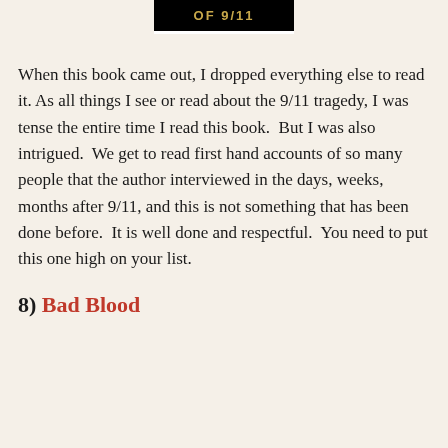[Figure (illustration): Top portion of a book cover with black background showing 'OF 9/11' in gold/yellow bold letters]
When this book came out, I dropped everything else to read it. As all things I see or read about the 9/11 tragedy, I was tense the entire time I read this book.  But I was also intrigued.  We get to read first hand accounts of so many people that the author interviewed in the days, weeks, months after 9/11, and this is not something that has been done before.  It is well done and respectful.  You need to put this one high on your list.
8) Bad Blood
[Figure (illustration): Book cover of 'Bad Blood: Secrets and Lies in a Silicon Valley Startup' with black background, red bold title text, and author name at bottom]